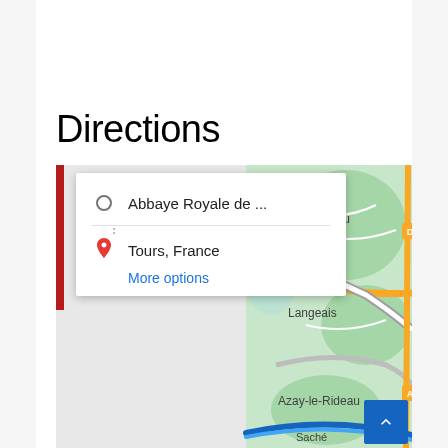Directions
[Figure (screenshot): Google Maps directions screenshot showing a route from Abbaye Royale de ... to Tours, France, with a map view showing Ambillou, Langeais, A85 motorway, Azay-le-Rideau, and Saché areas in France. A directions card overlay shows the origin (Abbaye Royale de ...) and destination (Tours, France) with a 'More options' link. A blue highlighted route is visible at the bottom. A red vertical bar appears on the left side of the map. A blue scroll-to-top button is at the bottom right.]